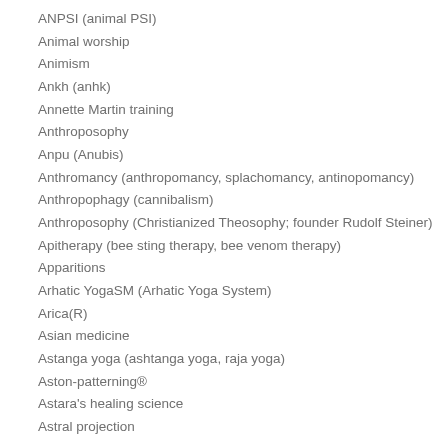ANPSI (animal PSI)
Animal worship
Animism
Ankh (anhk)
Annette Martin training
Anthroposophy
Anpu (Anubis)
Anthromancy (anthropomancy, splachomancy, antinopomancy)
Anthropophagy (cannibalism)
Anthroposophy (Christianized Theosophy; founder Rudolf Steiner)
Apitherapy (bee sting therapy, bee venom therapy)
Apparitions
Arhatic YogaSM (Arhatic Yoga System)
Arica(R)
Asian medicine
Astanga yoga (ashtanga yoga, raja yoga)
Aston-patterning®
Astara's healing science
Astral projection